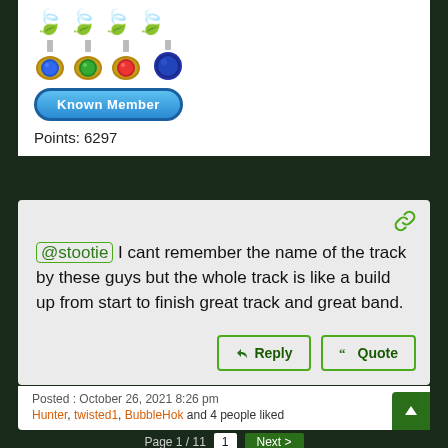[Figure (infographic): Four green cannabis leaf icons in a row]
[Figure (infographic): Four medal/badge icons in a row (blue, green, red, dark blue)]
[Figure (infographic): Known Member blue badge button]
Points: 6297
[Figure (infographic): Green chain/link icon]
@stootie I cant remember the name of the track by these guys but the whole track is like a build up from start to finish great track and great band.
[Figure (infographic): Reply button with arrow icon]
[Figure (infographic): Quote button with quote icon]
Posted : October 26, 2021 8:26 pm
Hunter, twisted1, BubbleHok and 4 people liked
Page 1 / 11   1   Next >